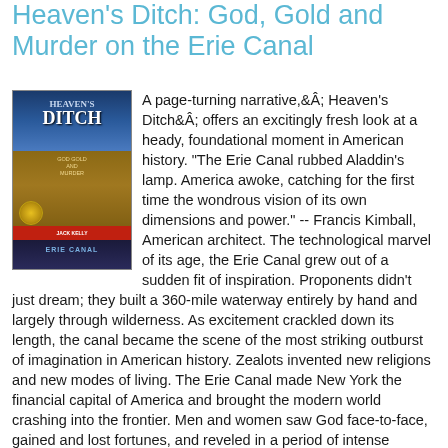Heaven's Ditch: God, Gold and Murder on the Erie Canal
[Figure (illustration): Book cover of Heaven's Ditch: God, Gold and Murder on the Erie Canal, showing a stylized landscape with sky and canal imagery, gold and dark blue color scheme with red author strip.]
A page-turning narrative, Heaven's Ditch offers an excitingly fresh look at a heady, foundational moment in American history. "The Erie Canal rubbed Aladdin's lamp. America awoke, catching for the first time the wondrous vision of its own dimensions and power." -- Francis Kimball, American architect. The technological marvel of its age, the Erie Canal grew out of a sudden fit of inspiration. Proponents didn't just dream; they built a 360-mile waterway entirely by hand and largely through wilderness. As excitement crackled down its length, the canal became the scene of the most striking outburst of imagination in American history. Zealots invented new religions and new modes of living. The Erie Canal made New York the financial capital of America and brought the modern world crashing into the frontier. Men and women saw God face-to-face, gained and lost fortunes, and reveled in a period of intense